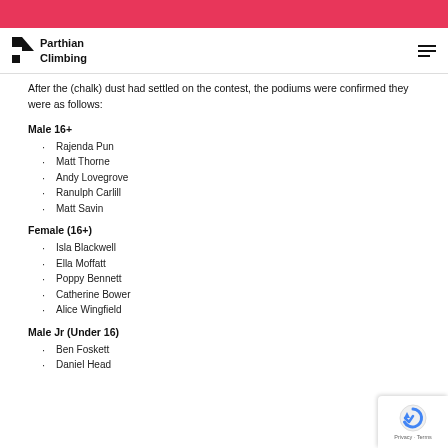Parthian Climbing
After the (chalk) dust had settled on the contest, the podiums were confirmed they were as follows:
Male 16+
Rajenda Pun
Matt Thorne
Andy Lovegrove
Ranulph Carlill
Matt Savin
Female (16+)
Isla Blackwell
Ella Moffatt
Poppy Bennett
Catherine Bower
Alice Wingfield
Male Jr (Under 16)
Ben Foskett
Daniel Head